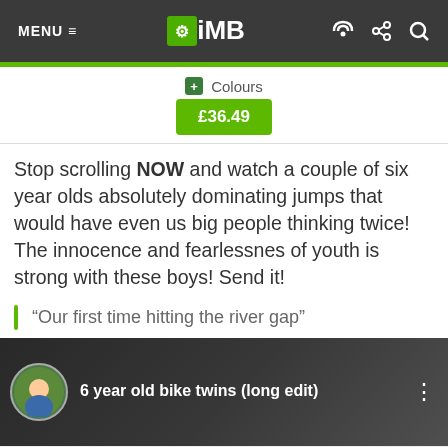MENU ≡  iMB
⊞ Colours
£36.49
Stop scrolling NOW and watch a couple of six year olds absolutely dominating jumps that would have even us big people thinking twice! The innocence and fearlessnes of youth is strong with these boys! Send it!
“Our first time hitting the river gap”
[Figure (screenshot): Video thumbnail showing '6 year old bike twins (long edit)' with avatar and dark background]
2.8K